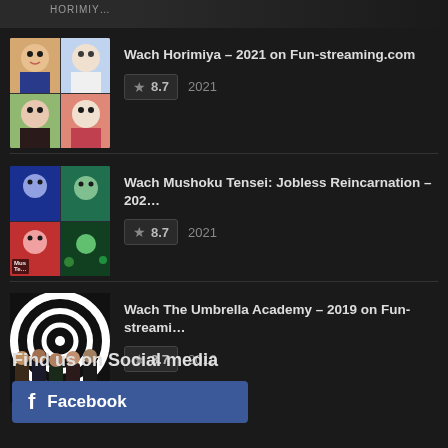[Figure (screenshot): Partial top image strip showing truncated content]
Wach Horimiya – 2021 on Fun-streaming.com | ★ 8.7 | 2021
Wach Mushoku Tensei: Jobless Reincarnation – 202... | ★ 8.7 | 2021
Wach The Umbrella Academy – 2019 on Fun-streami... | ★ 8.7 | 2019
Find us on Social media
f  Facebook